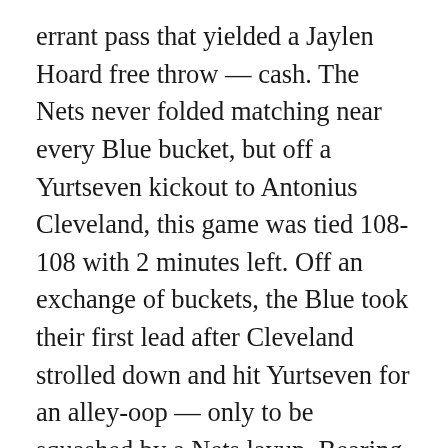errant pass that yielded a Jaylen Hoard free throw — cash. The Nets never folded matching near every Blue bucket, but off a Yurtseven kickout to Antonius Cleveland, this game was tied 108-108 with 2 minutes left. Off an exchange of buckets, the Blue took their first lead after Cleveland strolled down and hit Yurtseven for an alley-oop — only to be squashed by a Nets layup. Bearing only 30 seconds, Oklahoma City sat with the ball until Vincent Edwards slashed right baseline and came too strong off a layup. With the ball advanced and no shot clock remaining the Nets were locked on to taking the last attempt of regulation — offensive foul. Vincent Edwards yet again got involved in the play, crashing down off a screen. In one of the most pivotal challenges of the season the officiating crew determined the call stands. Antonius Cleveland tried to call game, taking on a 15 second iso that